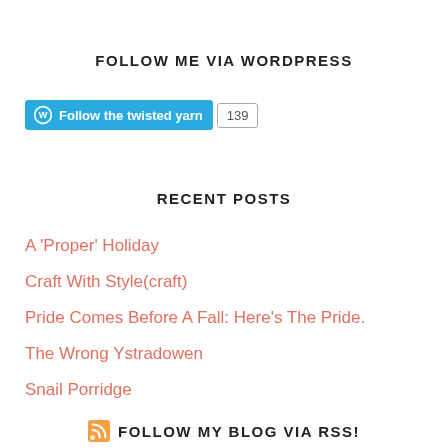FOLLOW ME VIA WORDPRESS
[Figure (other): WordPress Follow Button showing 'Follow the twisted yarn' with follower count 139]
RECENT POSTS
A 'Proper' Holiday
Craft With Style(craft)
Pride Comes Before A Fall: Here’s The Pride.
The Wrong Ystradowen
Snail Porridge
FOLLOW MY BLOG VIA RSS!